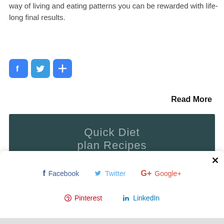way of living and eating patterns you can be rewarded with life-long final results.
[Figure (screenshot): Social share icons: Facebook (blue f), Twitter (blue bird), and a blue plus/share icon]
Read More
[Figure (screenshot): Dark teal image with white thin text reading 'Quick Diet plan Recipes']
[Figure (screenshot): Social share overlay popup with close X button, containing Facebook, Twitter, Google+, Pinterest, LinkedIn share links]